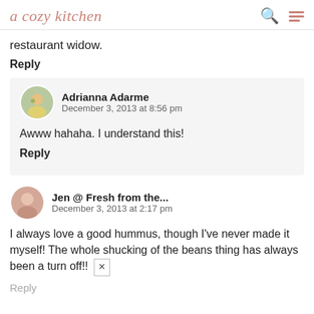a cozy kitchen
restaurant widow.
Reply
Adrianna Adarme
December 3, 2013 at 8:56 pm
Awww hahaha. I understand this!
Reply
Jen @ Fresh from the...
December 3, 2013 at 2:17 pm
I always love a good hummus, though I've never made it myself! The whole shucking of the beans thing has always been a turn off!!
Reply